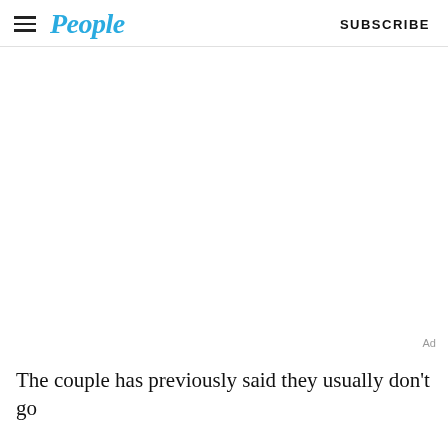People — SUBSCRIBE
[Figure (other): Advertisement placeholder area (blank white space with 'Ad' label in bottom right corner)]
The couple has previously said they usually don't go